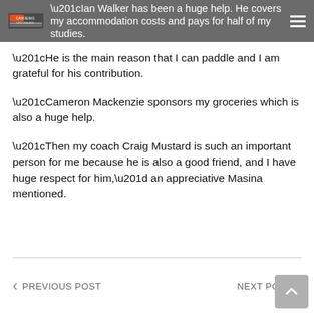“Ian Walker has been a huge help. He covers my accommodation costs and pays for half of my studies.
“He is the main reason that I can paddle and I am grateful for his contribution.
“Cameron Mackenzie sponsors my groceries which is also a huge help.
“Then my coach Craig Mustard is such an important person for me because he is also a good friend, and I have huge respect for him,” an appreciative Masina mentioned.
PREVIOUS POST   NEXT POST